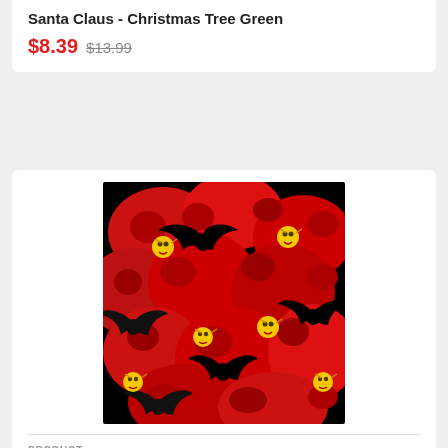Santa Claus - Christmas Tree Green
$8.39  $13.99
[Figure (photo): Red and black fabric pattern with bat silhouettes and small yellow devil/minion faces on a red cloud swirl background.]
PRODUCT
Bite Me Minion - Bat Minion Red
$8.99  $14.99